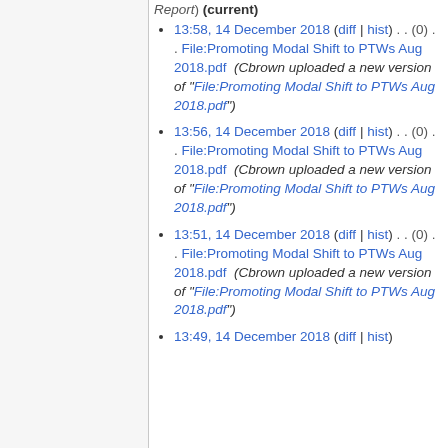Report) (current)
13:58, 14 December 2018 (diff | hist) . . (0) . . File:Promoting Modal Shift to PTWs Aug 2018.pdf (Cbrown uploaded a new version of "File:Promoting Modal Shift to PTWs Aug 2018.pdf")
13:56, 14 December 2018 (diff | hist) . . (0) . . File:Promoting Modal Shift to PTWs Aug 2018.pdf (Cbrown uploaded a new version of "File:Promoting Modal Shift to PTWs Aug 2018.pdf")
13:51, 14 December 2018 (diff | hist) . . (0) . . File:Promoting Modal Shift to PTWs Aug 2018.pdf (Cbrown uploaded a new version of "File:Promoting Modal Shift to PTWs Aug 2018.pdf")
13:49, 14 December 2018 (diff | hist)